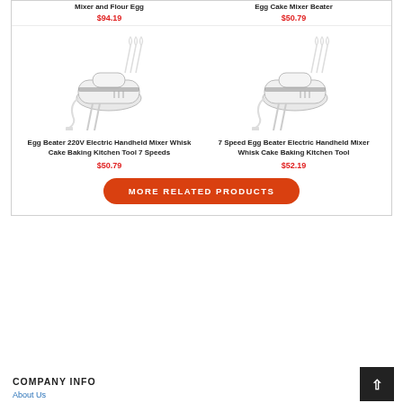Mixer and Flour Egg
$94.19
Egg Cake Mixer Beater
$50.79
[Figure (photo): White handheld electric egg beater/mixer with attachments]
[Figure (photo): White handheld electric egg beater/mixer with attachments]
Egg Beater 220V Electric Handheld Mixer Whisk Cake Baking Kitchen Tool 7 Speeds
$50.79
7 Speed Egg Beater Electric Handheld Mixer Whisk Cake Baking Kitchen Tool
$52.19
MORE RELATED PRODUCTS
COMPANY INFO
About Us